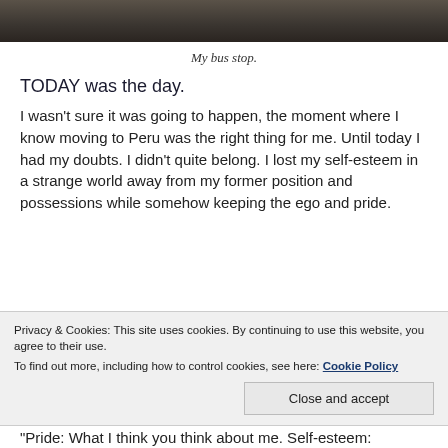[Figure (photo): Dark outdoor ground/road photo strip at top of page]
My bus stop.
TODAY was the day.
I wasn't sure it was going to happen, the moment where I know moving to Peru was the right thing for me. Until today I had my doubts. I didn't quite belong. I lost my self-esteem in a strange world away from my former position and possessions while somehow keeping the ego and pride.
Privacy & Cookies: This site uses cookies. By continuing to use this website, you agree to their use.
To find out more, including how to control cookies, see here: Cookie Policy
"Pride: What I think you think about me. Self-esteem: